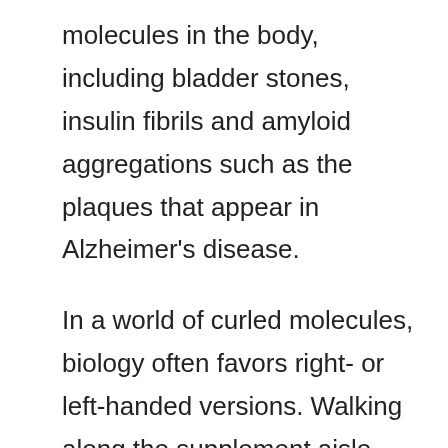molecules in the body, including bladder stones, insulin fibrils and amyloid aggregations such as the plaques that appear in Alzheimer's disease.
In a world of curled molecules, biology often favors right- or left-handed versions. Walking along the supplement aisle, you might notice that some have an L or D in front of the